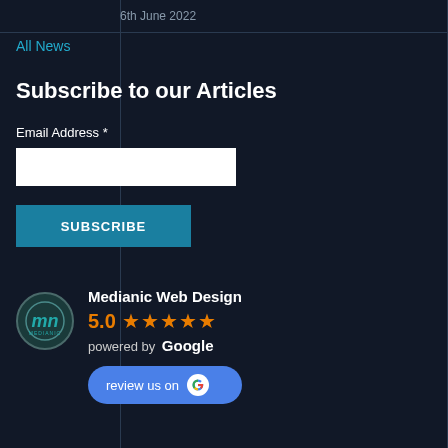6th June 2022
All News
Subscribe to our Articles
Email Address *
SUBSCRIBE
[Figure (logo): Medianic Web Design Google review widget showing 5.0 star rating, powered by Google, with a review us on Google button and Medianic mn logo circle]
Medianic Web Design
5.0 ★★★★★
powered by Google
review us on